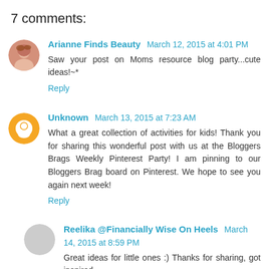7 comments:
Arianne Finds Beauty  March 12, 2015 at 4:01 PM
Saw your post on Moms resource blog party...cute ideas!~*
Reply
Unknown  March 13, 2015 at 7:23 AM
What a great collection of activities for kids! Thank you for sharing this wonderful post with us at the Bloggers Brags Weekly Pinterest Party! I am pinning to our Bloggers Brag board on Pinterest. We hope to see you again next week!
Reply
Reelika @Financially Wise On Heels  March 14, 2015 at 8:59 PM
Great ideas for little ones :) Thanks for sharing, got inspired